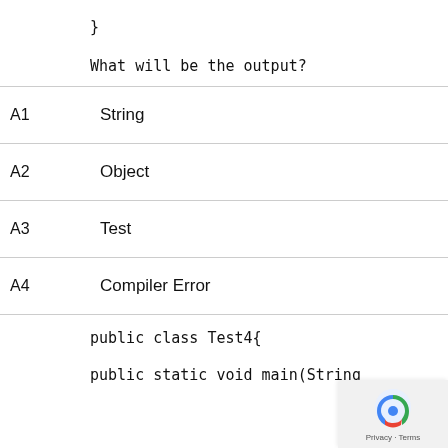}
What will be the output?
A1   String
A2   Object
A3   Test
A4   Compiler Error
public class Test4{
public static void main(String